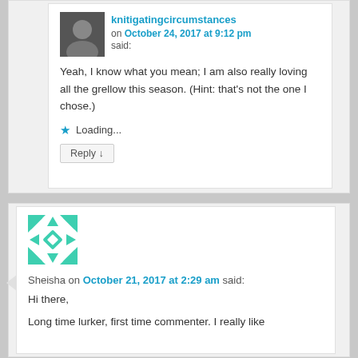[Figure (photo): Avatar photo of knitigatingcircumstances user]
knitigatingcircumstances on October 24, 2017 at 9:12 pm said:
Yeah, I know what you mean; I am also really loving all the grellow this season. (Hint: that's not the one I chose.)
Loading...
Reply ↓
[Figure (illustration): Teal geometric avatar for user Sheisha]
Sheisha on October 21, 2017 at 2:29 am said:
Hi there,
Long time lurker, first time commenter. I really like